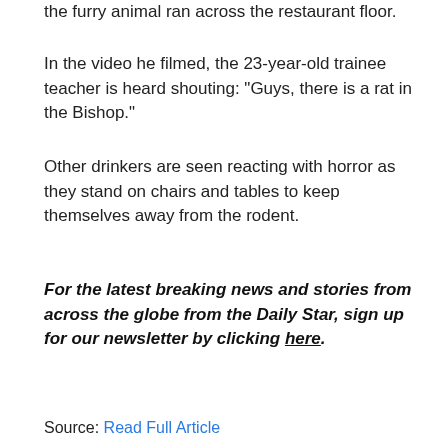the furry animal ran across the restaurant floor.
In the video he filmed, the 23-year-old trainee teacher is heard shouting: "Guys, there is a rat in the Bishop."
Other drinkers are seen reacting with horror as they stand on chairs and tables to keep themselves away from the rodent.
For the latest breaking news and stories from across the globe from the Daily Star, sign up for our newsletter by clicking here.
Source: Read Full Article
CHECK THIS OUT
[Figure (photo): Bottom image showing building and partial face]